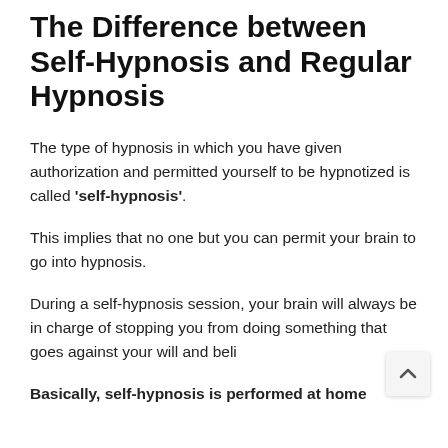The Difference between Self-Hypnosis and Regular Hypnosis
The type of hypnosis in which you have given authorization and permitted yourself to be hypnotized is called 'self-hypnosis'.
This implies that no one but you can permit your brain to go into hypnosis.
During a self-hypnosis session, your brain will always be in charge of stopping you from doing something that goes against your will and beli...
Basically, self-hypnosis is performed at home...